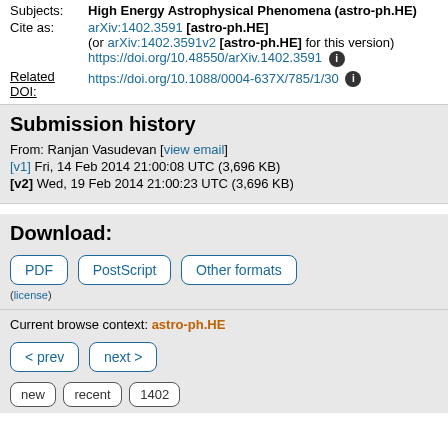Subjects: High Energy Astrophysical Phenomena (astro-ph.HE)
Cite as: arXiv:1402.3591 [astro-ph.HE] (or arXiv:1402.3591v2 [astro-ph.HE] for this version) https://doi.org/10.48550/arXiv.1402.3591
Related DOI: https://doi.org/10.1088/0004-637X/785/1/30
Submission history
From: Ranjan Vasudevan [view email]
[v1] Fri, 14 Feb 2014 21:00:08 UTC (3,696 KB)
[v2] Wed, 19 Feb 2014 21:00:23 UTC (3,696 KB)
Download:
PDF  PostScript  Other formats
(license)
Current browse context: astro-ph.HE
< prev  next >
new  recent  1402